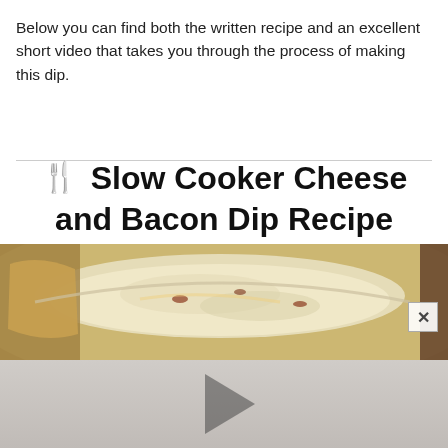Below you can find both the written recipe and an excellent short video that takes you through the process of making this dip.
🍴 Slow Cooker Cheese and Bacon Dip Recipe
[Figure (photo): Photo of a slow cooker cheese and bacon dip in a bowl, with a video player overlay showing play button and close (x) button]